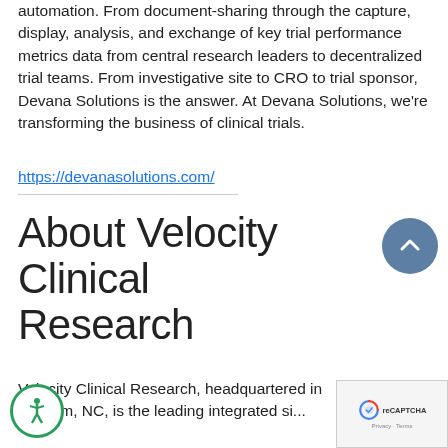automation. From document-sharing through the capture, display, analysis, and exchange of key trial performance metrics data from central research leaders to decentralized trial teams. From investigative site to CRO to trial sponsor, Devana Solutions is the answer. At Devana Solutions, we're transforming the business of clinical trials.
https://devanasolutions.com/
About Velocity Clinical Research
Velocity Clinical Research, headquartered in Durham, NC, is the leading integrated si...